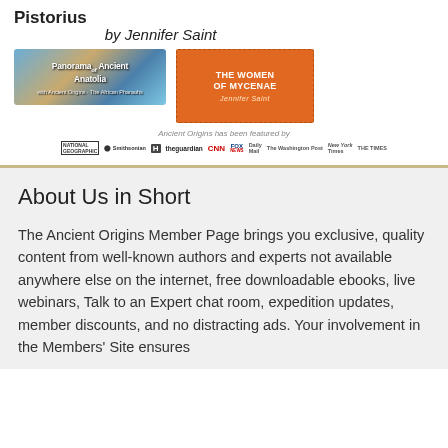Pistorius
by Jennifer Saint
[Figure (photo): Panorama of Ancient Anatolia promotional image with landscape and ancient ruins]
[Figure (photo): The Women of Mycenae book/event poster by Jennifer Saint, orange background with illustrated figures]
Ancient Origins has been featured by
[Figure (logo): Media logos: National Geographic, Smithsonian, History Channel, The Guardian, CNN, Fox News, Daily Mail, The Washington Post, New York Times, The Times]
About Us in Short
The Ancient Origins Member Page brings you exclusive, quality content from well-known authors and experts not available anywhere else on the internet, free downloadable ebooks, live webinars, Talk to an Expert chat room, expedition updates, member discounts, and no distracting ads. Your involvement in the Members' Site ensures